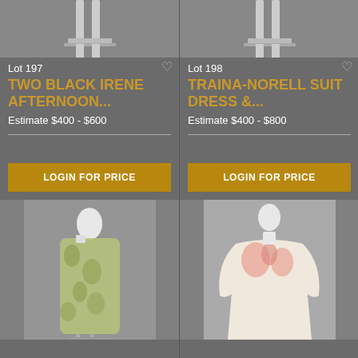[Figure (photo): Mannequin wearing black dress, top portion visible, gray background]
Lot 197
TWO BLACK IRENE AFTERNOON...
Estimate $400 - $600
LOGIN FOR PRICE
[Figure (photo): Mannequin wearing black outfit, top portion visible, gray background]
Lot 198
TRAINA-NORELL SUIT DRESS &...
Estimate $400 - $800
LOGIN FOR PRICE
[Figure (photo): Mannequin wearing green and white floral sleeveless long dress]
[Figure (photo): Mannequin wearing cream gown with pink floral embroidery and long sleeves]